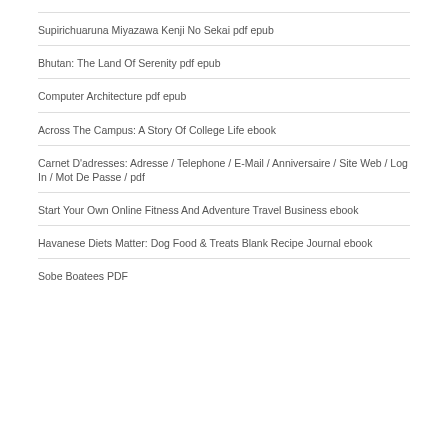Supirichuaruna Miyazawa Kenji No Sekai pdf epub
Bhutan: The Land Of Serenity pdf epub
Computer Architecture pdf epub
Across The Campus: A Story Of College Life ebook
Carnet D'adresses: Adresse / Telephone / E-Mail / Anniversaire / Site Web / Log In / Mot De Passe / pdf
Start Your Own Online Fitness And Adventure Travel Business ebook
Havanese Diets Matter: Dog Food & Treats Blank Recipe Journal ebook
Sobe Boatees PDF